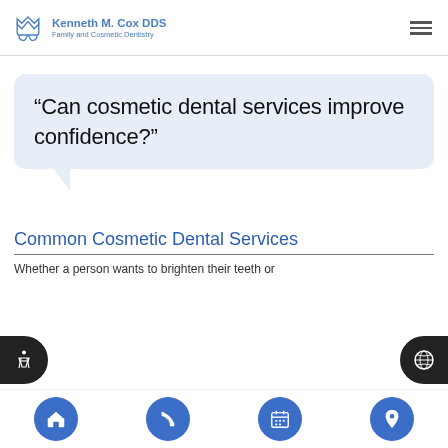Kenneth M. Cox DDS Family and Cosmetic Dentistry
“Can cosmetic dental services improve confidence?”
Common Cosmetic Dental Services
Whether a person wants to brighten their teeth or